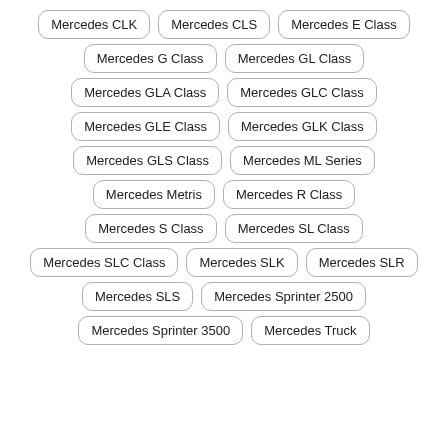Mercedes CLK
Mercedes CLS
Mercedes E Class
Mercedes G Class
Mercedes GL Class
Mercedes GLA Class
Mercedes GLC Class
Mercedes GLE Class
Mercedes GLK Class
Mercedes GLS Class
Mercedes ML Series
Mercedes Metris
Mercedes R Class
Mercedes S Class
Mercedes SL Class
Mercedes SLC Class
Mercedes SLK
Mercedes SLR
Mercedes SLS
Mercedes Sprinter 2500
Mercedes Sprinter 3500
Mercedes Truck